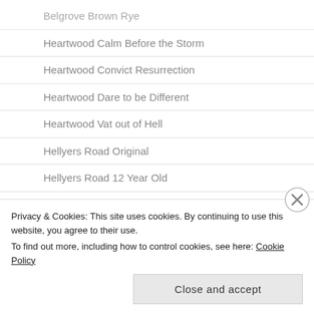Belgrove Brown Rye
Heartwood Calm Before the Storm
Heartwood Convict Resurrection
Heartwood Dare to be Different
Heartwood Vat out of Hell
Hellyers Road Original
Hellyers Road 12 Year Old
Hellyers Road 15 Year Old
Hellyers Road Peated
Hellyers Road Pinot Noir Finish
Privacy & Cookies: This site uses cookies. By continuing to use this website, you agree to their use.
To find out more, including how to control cookies, see here: Cookie Policy